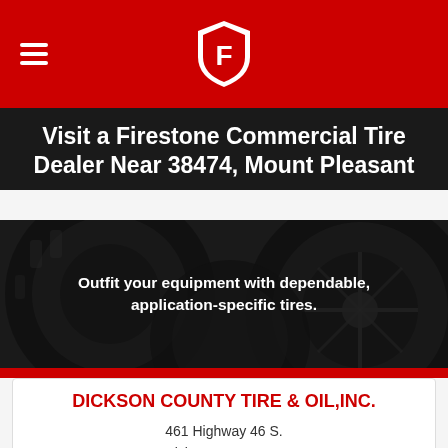Firestone header with logo and hamburger menu
Visit a Firestone Commercial Tire Dealer Near 38474, Mount Pleasant
[Figure (photo): Dark background photo of commercial/agricultural tires with text overlay: Outfit your equipment with dependable, application-specific tires.]
DICKSON COUNTY TIRE & OIL,INC.
461 Highway 46 S.
Dickson, TN 37055
Hours Today:: 7:00 am to 5:00 pm